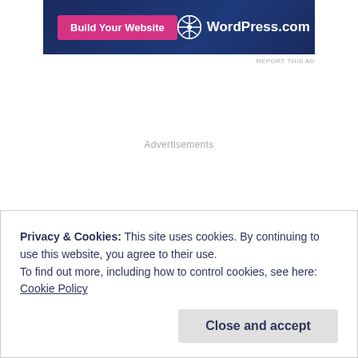[Figure (screenshot): WordPress.com advertisement banner with dark navy background, pink 'Build Your Website' button on left, and WordPress.com logo on right]
REPORT THIS AD
Advertisements
Privacy & Cookies: This site uses cookies. By continuing to use this website, you agree to their use.
To find out more, including how to control cookies, see here:
Cookie Policy
Close and accept